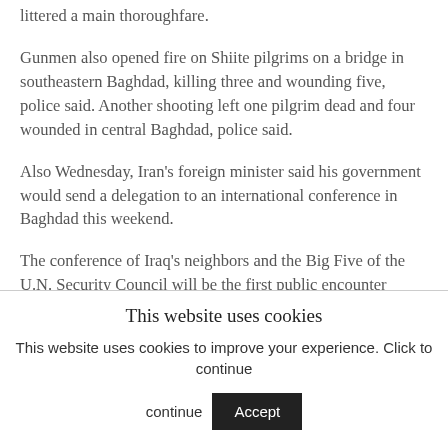littered a main thoroughfare.
Gunmen also opened fire on Shiite pilgrims on a bridge in southeastern Baghdad, killing three and wounding five, police said. Another shooting left one pilgrim dead and four wounded in central Baghdad, police said.
Also Wednesday, Iran’s foreign minister said his government would send a delegation to an international conference in Baghdad this weekend.
The conference of Iraq’s neighbors and the Big Five of the U.N. Security Council will be the first public encounter between U.S. and Iranian envoys since late 2004.
This website uses cookies
This website uses cookies to improve your experience. Click to continue
Accept